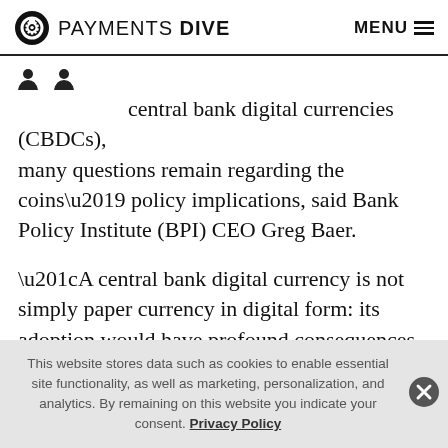PAYMENTS DIVE  MENU
[Figure (logo): Payments Dive logo with circular icon on left and PAYMENTS DIVE text, MENU hamburger on right]
central bank digital currencies (CBDCs), many questions remain regarding the coins’ policy implications, said Bank Policy Institute (BPI) CEO Greg Baer.
“A central bank digital currency is not simply paper currency in digital form: its adoption would have profound consequences for the U.S. financial system and economy.” Baer wrote in a working paper published this
This website stores data such as cookies to enable essential site functionality, as well as marketing, personalization, and analytics. By remaining on this website you indicate your consent. Privacy Policy